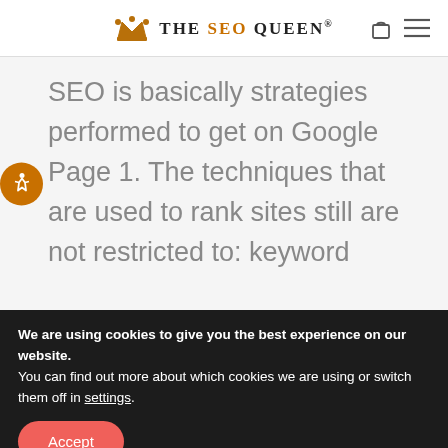THE SEO QUEEN®
SEO is basically strategies performed to get on Google Page 1. The techniques that are used to rank sites still are not restricted to: keyword
We are using cookies to give you the best experience on our website.
You can find out more about which cookies we are using or switch them off in settings.
Accept